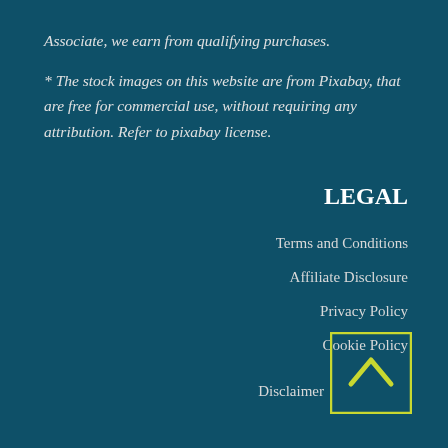Associate, we earn from qualifying purchases.
* The stock images on this website are from Pixabay, that are free for commercial use, without requiring any attribution. Refer to pixabay license.
LEGAL
Terms and Conditions
Affiliate Disclosure
Privacy Policy
Cookie Policy
Disclaimer
[Figure (other): Back to top button with upward chevron arrow in a yellow-green outlined square]